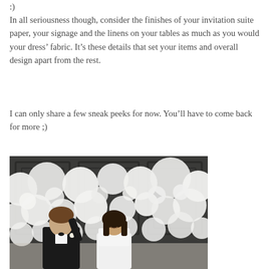:)
In all seriousness though, consider the finishes of your invitation suite paper, your signage and the linens on your tables as much as you would your dress’ fabric. It’s these details that set your items and overall design apart from the rest.
I can only share a few sneak peeks for now. You’ll have to come back for more ;)
[Figure (photo): A couple standing in front of a large white balloon wall backdrop inside a room with dark paneled walls. The groom is in a black tuxedo with a boutonniere; the bride is in a white dress. The groom has his hand raised.]